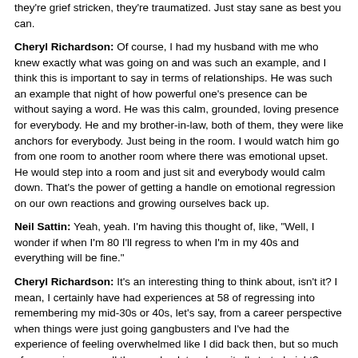they're grief stricken, they're traumatized. Just stay sane as best you can.
Cheryl Richardson: Of course, I had my husband with me who knew exactly what was going on and was such an example, and I think this is important to say in terms of relationships. He was such an example that night of how powerful one's presence can be without saying a word. He was this calm, grounded, loving presence for everybody. He and my brother-in-law, both of them, they were like anchors for everybody. Just being in the room. I would watch him go from one room to another room where there was emotional upset. He would step into a room and just sit and everybody would calm down. That's the power of getting a handle on emotional regression on our own reactions and growing ourselves back up.
Neil Sattin: Yeah, yeah. I'm having this thought of, like, "Well, I wonder if when I'm 80 I'll regress to when I'm in my 40s and everything will be fine."
Cheryl Richardson: It's an interesting thing to think about, isn't it? I mean, I certainly have had experiences at 58 of regressing into remembering my mid-30s or 40s, let's say, from a career perspective when things were just going gangbusters and I've had the experience of feeling overwhelmed like I did back then, but so much of regression goes all the way back to where it all started, right?
Neil Sattin: Yeah.
Cheryl Richardson: In the family of origin...
Neil Sattin: Yeah, yeah, or maybe even for some of us what we brought in to